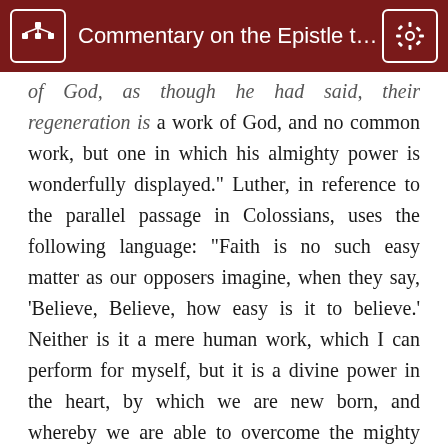Commentary on the Epistle to ...
of God, as though he had said, their regeneration is a work of God, and no common work, but one in which his almighty power is wonderfully displayed." Luther, in reference to the parallel passage in Colossians, uses the following language: "Faith is no such easy matter as our opposers imagine, when they say, ‘Believe, Believe, how easy is it to believe.’ Neither is it a mere human work, which I can perform for myself, but it is a divine power in the heart, by which we are new born, and whereby we are able to overcome the mighty power of the Devil and of death; as Paul says to the Colossians, ‘In whom ye are raised up